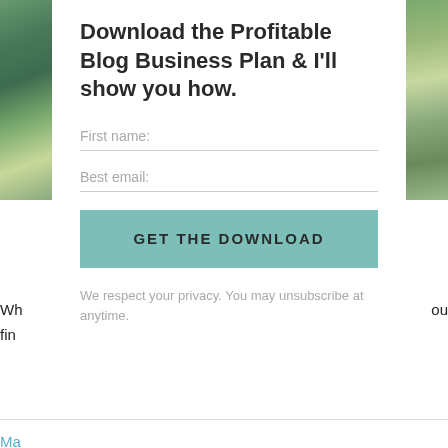[Figure (photo): Partial green mountain landscape photo on the left edge]
[Figure (photo): Partial green hillside/ruins landscape photo on the right edge]
Download the Profitable Blog Business Plan & I'll show you how.
First name:
Best email:
GET THE DOWNLOAD
We respect your privacy. You may unsubscribe at anytime.